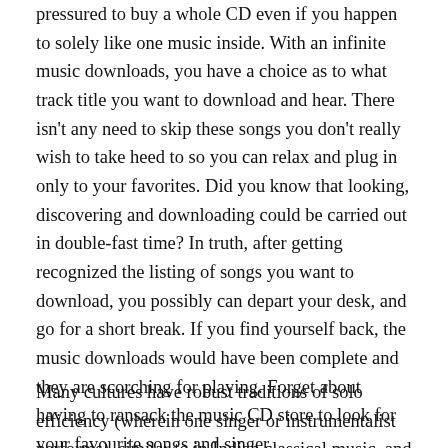pressured to buy a whole CD even if you happen to solely like one music inside. With an infinite music downloads, you have a choice as to what track title you want to download and hear. There isn't any need to skip these songs you don't really wish to take heed to so you can relax and plug in only to your favorites. Did you know that looking, discovering and downloading could be carried out in double-fast time? In truth, after getting recognized the listing of songs you want to download, you possibly can depart your desk, and go for a short break. If you find yourself back, the music downloads would have been complete and they are scorching for playing. Forget about having to ransack the music CD store to look for your favourite songs and singer.
Many cultures have robust traditions of solo efficiency (wherein one singer or instrumentalist performs), similar to in Indian classical music, and in the Western art-music tradition. Different cultures, comparable to in Bali, include